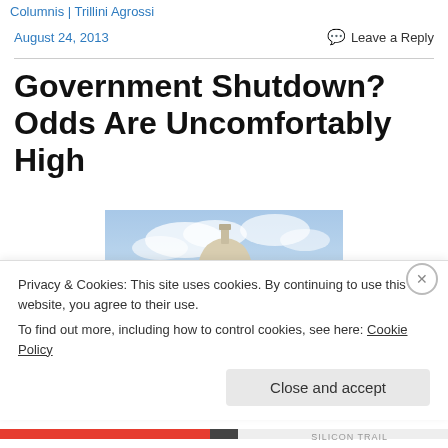Columnis | Trillini Agrossi
August 24, 2013
Leave a Reply
Government Shutdown? Odds Are Uncomfortably High
[Figure (photo): Photo of the United States Capitol building dome against a blue sky with columns in the foreground]
Privacy & Cookies: This site uses cookies. By continuing to use this website, you agree to their use.
To find out more, including how to control cookies, see here: Cookie Policy
Close and accept